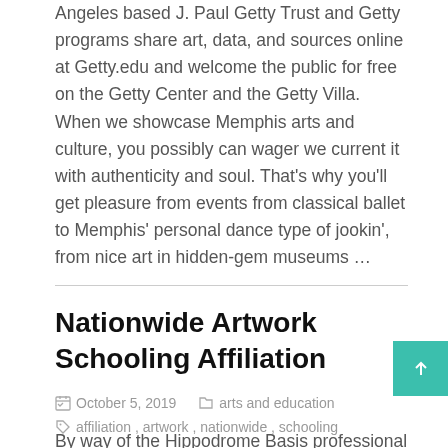Angeles based J. Paul Getty Trust and Getty programs share art, data, and sources online at Getty.edu and welcome the public for free on the Getty Center and the Getty Villa. When we showcase Memphis arts and culture, you possibly can wager we current it with authenticity and soul. That’s why you’ll get pleasure from events from classical ballet to Memphis’ personal dance type of jookin’, from nice art in hidden-gem museums …
Nationwide Artwork Schooling Affiliation
October 5, 2019    arts and education
affiliation , artwork , nationwide , schooling
By way of the Hippodrome Basis professional performers